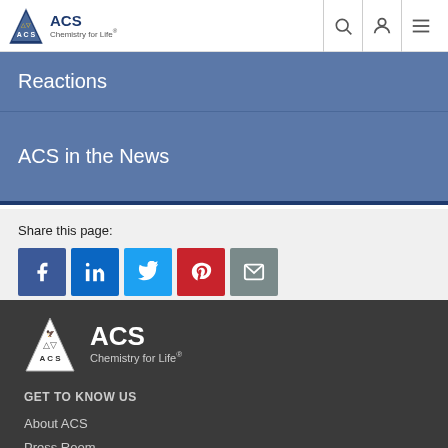ACS Chemistry for Life
Reactions
ACS in the News
Share this page:
[Figure (other): Social share buttons: Facebook, LinkedIn, Twitter, Pinterest, Email]
[Figure (logo): ACS Chemistry for Life logo (white version on dark background)]
GET TO KNOW US
About ACS
Press Room
Jobs at ACS